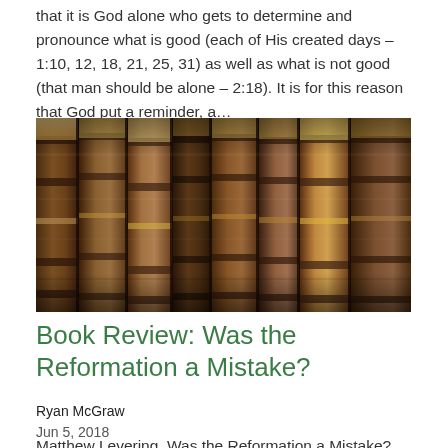that it is God alone who gets to determine and pronounce what is good (each of His created days – 1:10, 12, 18, 21, 25, 31) as well as what is not good (that man should be alone – 2:18). It is for this reason that God put a reminder, a…
[Figure (photo): Row of antique leather-bound books on a shelf, spine-side out, in brown and tan tones]
Book Review: Was the Reformation a Mistake?
Ryan McGraw
Jun 5, 2018
Matthew Levering, Was the Reformation a Mistake? Why